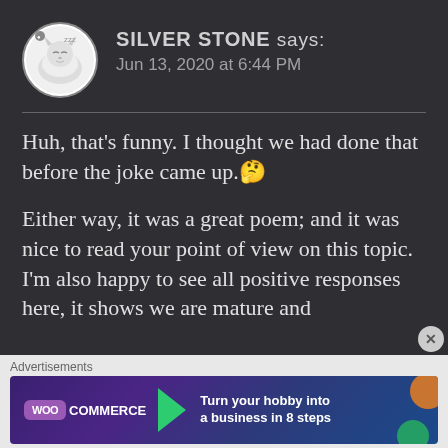SILVER STONE says: Jun 13, 2020 at 6:44 PM
Huh, that's funny. I thought we had done that before the joke came up.🤔
Either way, it was a great poem; and it was nice to read your point of view on this topic. I'm also happy to see all positive responses here, it shows we are mature and ...
Advertisements
[Figure (screenshot): WooCommerce advertisement banner: 'Turn your hobby into a business in 8 steps']